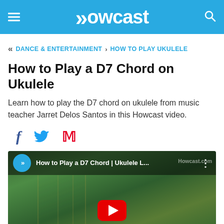Howcast
« DANCE & ENTERTAINMENT › HOW TO PLAY UKULELE
How to Play a D7 Chord on Ukulele
Learn how to play the D7 chord on ukulele from music teacher Jarret Delos Santos in this Howcast video.
[Figure (screenshot): Social share icons: Facebook (f), Twitter (bird), Pinterest (P)]
[Figure (screenshot): Video thumbnail showing ukulele neck with green foliage background. Howcast play button (blue circle with double arrows) and title 'How to Play a D7 Chord | Ukulele L...' with YouTube play button at bottom center. Watermark: Howcast.com]